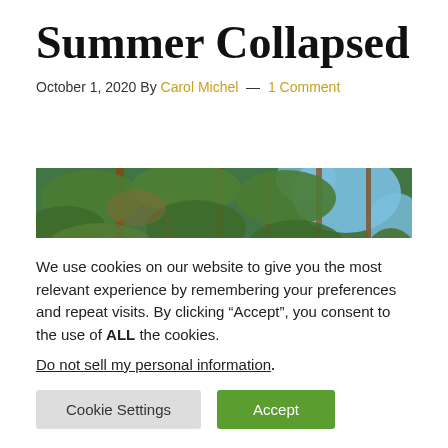Summer Collapsed
October 1, 2020 By Carol Michel — 1 Comment
[Figure (photo): Close-up photo of green leafy tree branches against a blue sky background]
We use cookies on our website to give you the most relevant experience by remembering your preferences and repeat visits. By clicking “Accept”, you consent to the use of ALL the cookies.
Do not sell my personal information.
Cookie Settings   Accept